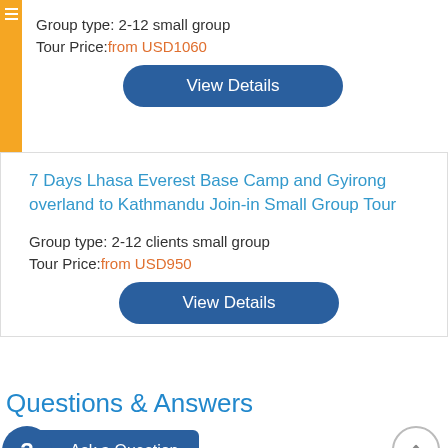Group type: 2-12 small group
Tour Price: from USD1060
[Figure (other): View Details button (blue rounded rectangle)]
7 Days Lhasa Everest Base Camp and Gyirong overland to Kathmandu Join-in Small Group Tour
Group type: 2-12 clients small group
Tour Price: from USD950
[Figure (other): View Details button (blue rounded rectangle)]
Questions & Answers
[Figure (other): Ask a Question button with question mark icon]
Question Summary (100 characters):*